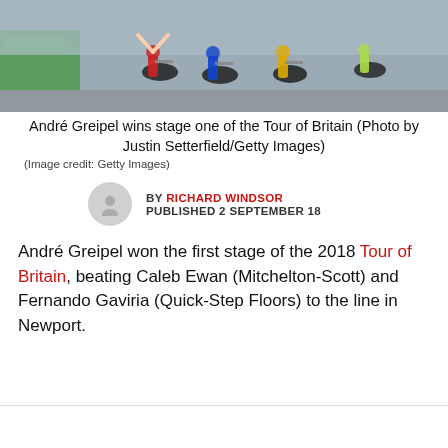[Figure (photo): Cyclists in a sprint finish at the Tour of Britain stage one race, with colorful jerseys and banners visible in the background.]
André Greipel wins stage one of the Tour of Britain (Photo by Justin Setterfield/Getty Images)
(Image credit: Getty Images)
BY RICHARD WINDSOR
PUBLISHED 2 SEPTEMBER 18
André Greipel won the first stage of the 2018 Tour of Britain, beating Caleb Ewan (Mitchelton-Scott) and Fernando Gaviria (Quick-Step Floors) to the line in Newport.